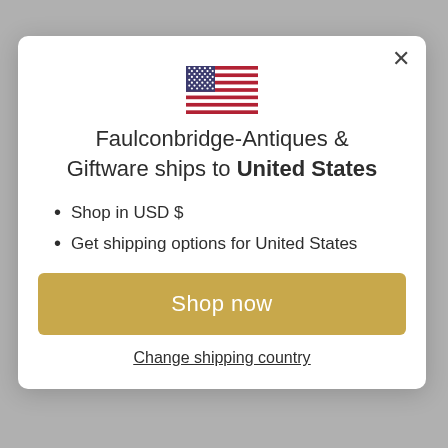[Figure (illustration): US flag emoji/icon centered above the title text]
Faulconbridge-Antiques & Giftware ships to United States
Shop in USD $
Get shipping options for United States
Shop now
Change shipping country